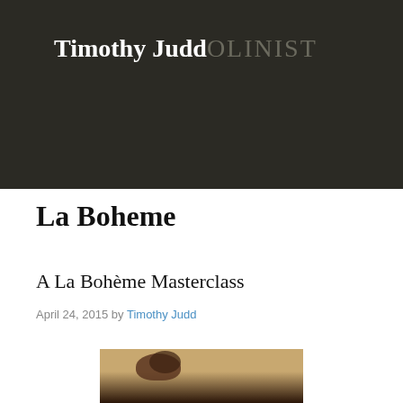Timothy Judd VIOLINIST
Menu
La Boheme
A La Bohème Masterclass
April 24, 2015 by Timothy Judd
[Figure (photo): Partial view of a figure or artwork with warm beige/amber background tones and dark lower elements]